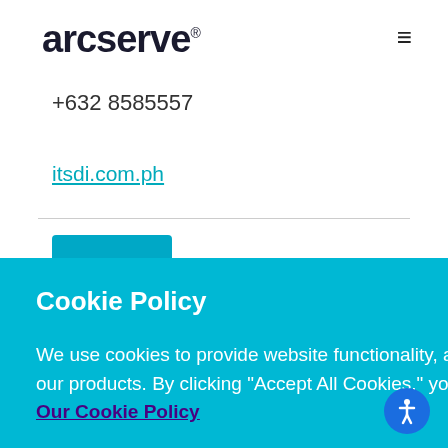arcserve®
+632 8585557
itsdi.com.ph
Cookie Policy

We use cookies to provide website functionality, analyze our traffic, and assist in marketing our products. By clicking "Accept All Cookies," you agree to allow cookies to be placed. View Our Cookie Policy

ACCEPT ALL COOKIES   Cookies Settings